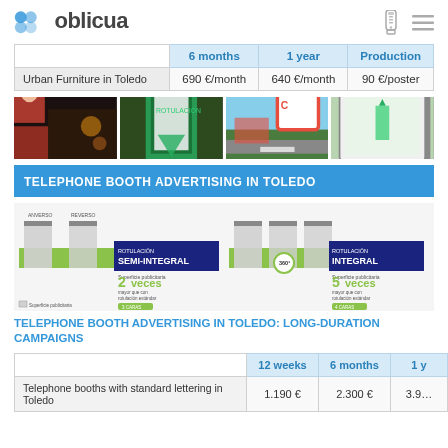oblicua
|  | 6 months | 1 year | Production |
| --- | --- | --- | --- |
| Urban Furniture in Toledo | 690 €/month | 640 €/month | 90 €/poster |
[Figure (photo): Four photographs showing urban furniture advertising displays in Toledo streets]
TELEPHONE BOOTH ADVERTISING IN TOLEDO
[Figure (infographic): Telephone booth advertising format diagrams: Semi-integral (2 veces) and Integral (5 veces) rotulation options]
TELEPHONE BOOTH ADVERTISING IN TOLEDO: LONG-DURATION CAMPAIGNS
|  | 12 weeks | 6 months | 1 y |
| --- | --- | --- | --- |
| Telephone booths with standard lettering in Toledo | 1.190 € | 2.300 € | 3.9… |